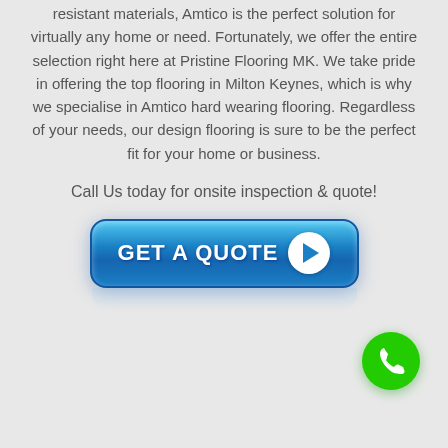resistant materials, Amtico is the perfect solution for virtually any home or need. Fortunately, we offer the entire selection right here at Pristine Flooring MK. We take pride in offering the top flooring in Milton Keynes, which is why we specialise in Amtico hard wearing flooring. Regardless of your needs, our design flooring is sure to be the perfect fit for your home or business.
Call Us today for onsite inspection & quote!
[Figure (illustration): Blue rounded button with 'GET A QUOTE' text and a white play/arrow circle icon, with a reflection below]
[Figure (illustration): Green circular phone call button in the bottom right corner]